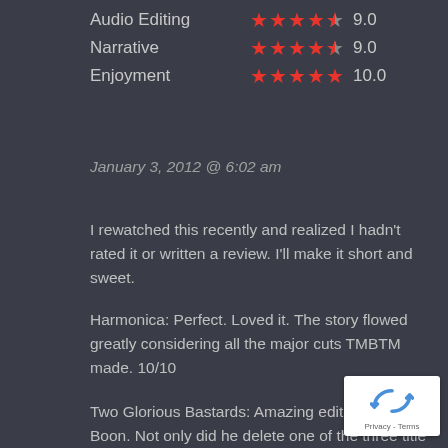| Category | Stars | Score |
| --- | --- | --- |
| Audio Editing | ★★★★½ | 9.0 |
| Narrative | ★★★★½ | 9.0 |
| Enjoyment | ★★★★★ | 10.0 |
January 3, 2012 @ 6:02 am
I rewatched this recently and realized I hadn't rated it or written a review. I'll make it short and sweet.
Harmonica: Perfect. Loved it. The story flowed greatly considering all the major cuts TMBTM made. 10/10
Two Glorious Bastards: Amazing editing by Boon. Not only did he delete one of the three title characters with ease he did some incredible sound work. Sure, not all the Cash songs work well, but it was really well done. The only complaint about this one is the audio levels on a couple of the songs seemed a little high for my ears (sorry I don't
[Figure (other): reCAPTCHA widget overlay with Privacy - Terms text]